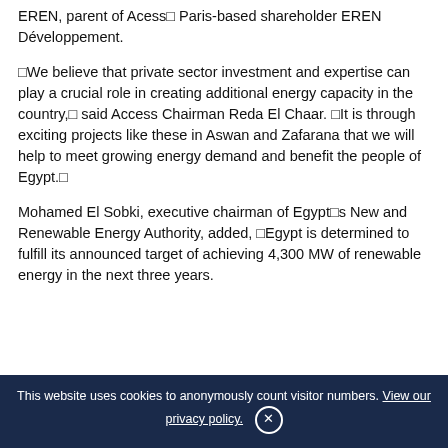EREN, parent of Acess□ Paris-based shareholder EREN Développement.
□We believe that private sector investment and expertise can play a crucial role in creating additional energy capacity in the country,□ said Access Chairman Reda El Chaar. □It is through exciting projects like these in Aswan and Zafarana that we will help to meet growing energy demand and benefit the people of Egypt.□
Mohamed El Sobki, executive chairman of Egypt□s New and Renewable Energy Authority, added, □Egypt is determined to fulfill its announced target of achieving 4,300 MW of renewable energy in the next three years.
This website uses cookies to anonymously count visitor numbers. View our privacy policy. ×